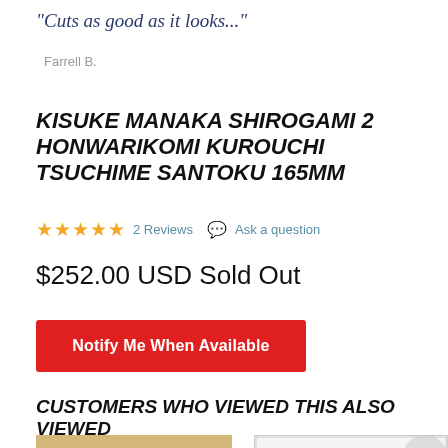"Cuts as good as it looks..."
Farrell B.
KISUKE MANAKA SHIROGAMI 2 HONWARIKOMI KUROUCHI TSUCHIME SANTOKU 165MM
★★★★★ 2 Reviews  💬 Ask a question
$252.00 USD Sold Out
Notify Me When Available
CUSTOMERS WHO VIEWED THIS ALSO VIEWED
[Figure (photo): Product thumbnail image with tan/beige background, partially cut off at bottom]
[Figure (illustration): Line drawing illustration of a product (appears to be a knife sharpener/holder) on white/gray background with a circular overlay element]